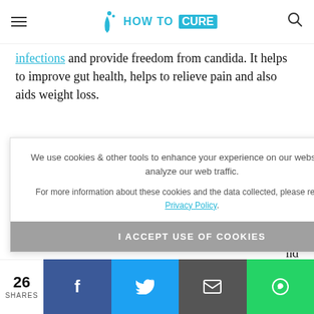HOW TO CURE
infections and provide freedom from candida. It helps to improve gut health, helps to relieve pain and also aids weight loss.
Why use oil of Oregano for Candida?
Oregano Oil has the power to make India as well as [partially obscured by cookie banner] ...ns ...nd ...xidant ...gal that
We use cookies & other tools to enhance your experience on our website and to analyze our web traffic. For more information about these cookies and the data collected, please refer to our Privacy Policy.
I ACCEPT USE OF COOKIES
26 SHARES